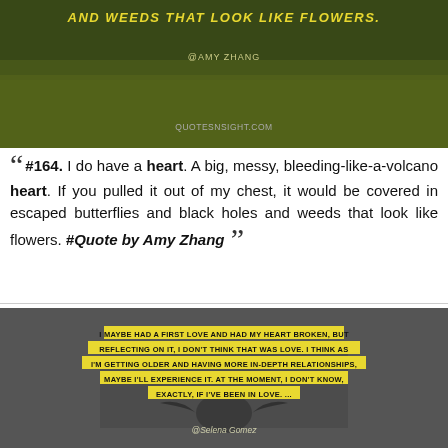[Figure (photo): Yellow flower field (rapeseed/canola) with dark overlay. Text on image reads 'AND WEEDS THAT LOOK LIKE FLOWERS.' in yellow caps, and '@AMY ZHANG' below it, and 'QUOTESNSIGHT.COM' at bottom.]
“ #164. I do have a heart. A big, messy, bleeding-like-a-volcano heart. If you pulled it out of my chest, it would be covered in escaped butterflies and black holes and weeds that look like flowers. #Quote by Amy Zhang ”
[Figure (photo): Dark grey background with a silhouette of a bird/eagle. Yellow highlighted text reads: 'I MAYBE HAD A FIRST LOVE AND HAD MY HEART BROKEN, BUT REFLECTING ON IT, I DON'T THINK THAT WAS LOVE. I THINK AS I'M GETTING OLDER AND HAVING MORE IN-DEPTH RELATIONSHIPS, MAYBE I'LL EXPERIENCE IT. AT THE MOMENT, I DON'T KNOW, EXACTLY, IF I'VE BEEN IN LOVE. ...' Attribution: @Selena Gomez]